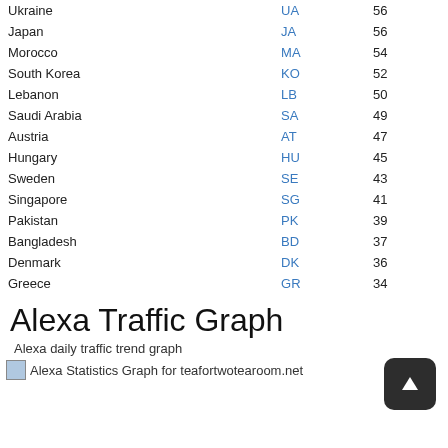| Country | Code | Value |
| --- | --- | --- |
| Ukraine | UA | 56 |
| Japan | JA | 56 |
| Morocco | MA | 54 |
| South Korea | KO | 52 |
| Lebanon | LB | 50 |
| Saudi Arabia | SA | 49 |
| Austria | AT | 47 |
| Hungary | HU | 45 |
| Sweden | SE | 43 |
| Singapore | SG | 41 |
| Pakistan | PK | 39 |
| Bangladesh | BD | 37 |
| Denmark | DK | 36 |
| Greece | GR | 34 |
Alexa Traffic Graph
Alexa daily traffic trend graph
Alexa Statistics Graph for teafortwotearoom.net